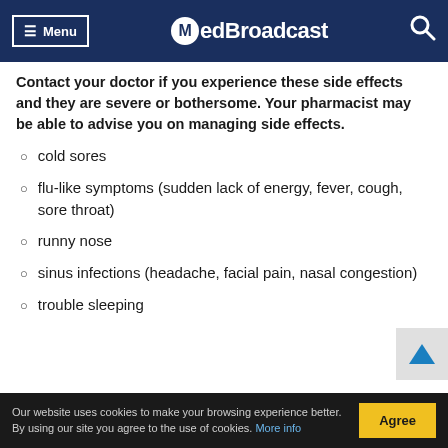Menu | MedBroadcast
Contact your doctor if you experience these side effects and they are severe or bothersome. Your pharmacist may be able to advise you on managing side effects.
cold sores
flu-like symptoms (sudden lack of energy, fever, cough, sore throat)
runny nose
sinus infections (headache, facial pain, nasal congestion)
trouble sleeping
Our website uses cookies to make your browsing experience better. By using our site you agree to the use of cookies. More info